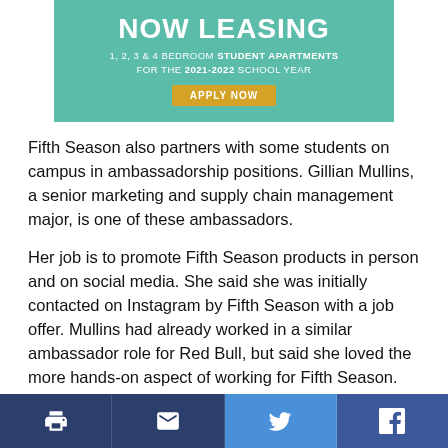[Figure (infographic): Advertisement banner for 'NOW LEASING' student apartments. Teal/green background. Text: NOW LEASING, 1, 2, 3 & 4 BEDROOM STUDENT APARTMENTS FOR THE 2021-2022 SCHOOL YEAR. Orange 'APPLY NOW' button.]
Fifth Season also partners with some students on campus in ambassadorship positions. Gillian Mullins, a senior marketing and supply chain management major, is one of these ambassadors.
Her job is to promote Fifth Season products in person and on social media. She said she was initially contacted on Instagram by Fifth Season with a job offer. Mullins had already worked in a similar ambassador role for Red Bull, but said she loved the more hands-on aspect of working for Fifth Season.
“I was really interested in using social media and
Print | Email | Twitter | Facebook